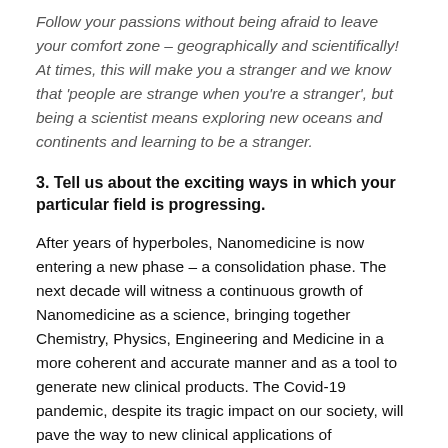Follow your passions without being afraid to leave your comfort zone – geographically and scientifically! At times, this will make you a stranger and we know that 'people are strange when you're a stranger', but being a scientist means exploring new oceans and continents and learning to be a stranger.
3. Tell us about the exciting ways in which your particular field is progressing.
After years of hyperboles, Nanomedicine is now entering a new phase – a consolidation phase. The next decade will witness a continuous growth of Nanomedicine as a science, bringing together Chemistry, Physics, Engineering and Medicine in a more coherent and accurate manner and as a tool to generate new clinical products. The Covid-19 pandemic, despite its tragic impact on our society, will pave the way to new clinical applications of nanomedicine and